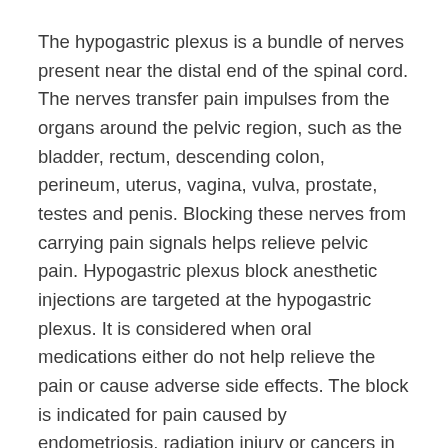The hypogastric plexus is a bundle of nerves present near the distal end of the spinal cord. The nerves transfer pain impulses from the organs around the pelvic region, such as the bladder, rectum, descending colon, perineum, uterus, vagina, vulva, prostate, testes and penis. Blocking these nerves from carrying pain signals helps relieve pelvic pain. Hypogastric plexus block anesthetic injections are targeted at the hypogastric plexus. It is considered when oral medications either do not help relieve the pain or cause adverse side effects. The block is indicated for pain caused by endometriosis, radiation injury or cancers in the pelvic regions.
During the hypogastric plexus block procedure, you will lie on your stomach on an X-ray table. Your doctor will numb the area on the back with local anesthesia. Then with the help of fluoroscopy (live X-ray), your doctor will insert 2